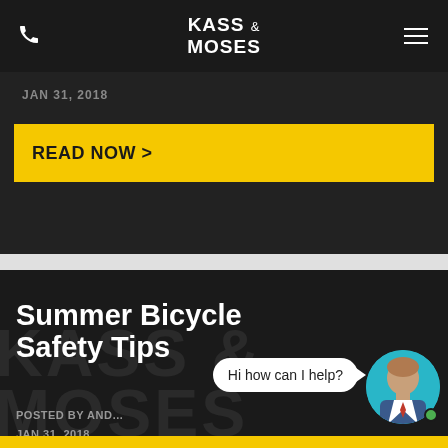KASS & MOSES
JAN 31, 2018
READ NOW >
Summer Bicycle Safety Tips
POSTED BY AND... JAN 31, 2018
Hi how can I help?